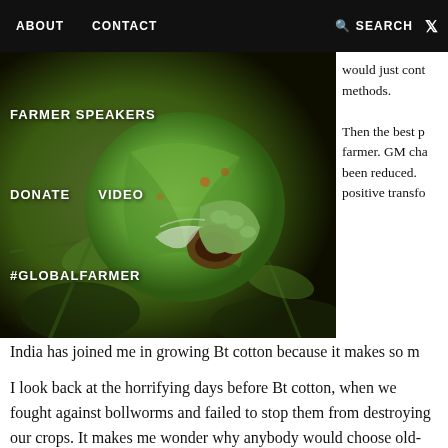ABOUT   CONTACT   SEARCH   [twitter]
[Figure (photo): Close-up photo of a green cotton boll being attacked by a bollworm caterpillar, on a dark background with plant stems]
FARMER SPEAKERS
DONATE   VIDEO
#GLOBALFARMER
would just cont
methods.

Then the best p
farmer. GM cha
been reduced.
positive transfo
India has joined me in growing Bt cotton because it makes so m
I look back at the horrifying days before Bt cotton, when we fought against bollworms and failed to stop them from destroying our crops. It makes me wonder why anybody would choose old-fashioned approaches to agriculture.
It happens all the time, of course. My own government in India won't accept Bt brinjal and GM mustard, even though scientists and regulatory authorities have confirmed that both crops are safe and hold the potential to improve the lives of